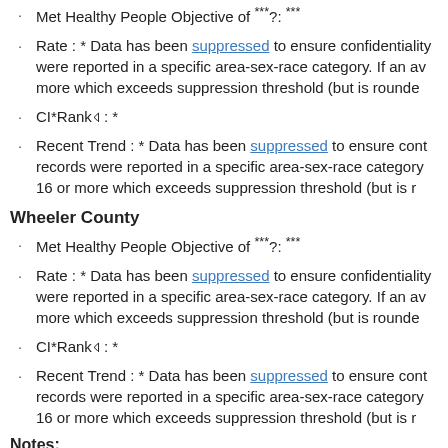Met Healthy People Objective of ***?: ***
Rate : * Data has been suppressed to ensure confidentiality were reported in a specific area-sex-race category. If an av more which exceeds suppression threshold (but is rounde
CI*Rank⋕ : *
Recent Trend : * Data has been suppressed to ensure cont records were reported in a specific area-sex-race category 16 or more which exceeds suppression threshold (but is r
Wheeler County
Met Healthy People Objective of ***?: ***
Rate : * Data has been suppressed to ensure confidentiality were reported in a specific area-sex-race category. If an av more which exceeds suppression threshold (but is rounde
CI*Rank⋕ : *
Recent Trend : * Data has been suppressed to ensure cont records were reported in a specific area-sex-race category 16 or more which exceeds suppression threshold (but is r
Notes: